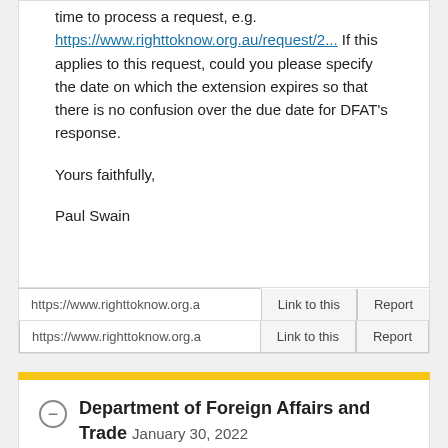time to process a request, e.g. https://www.righttoknow.org.au/request/2... If this applies to this request, could you please specify the date on which the extension expires so that there is no confusion over the due date for DFAT's response.
Yours faithfully,
Paul Swain
https://www.righttoknow.org.a
Link to this
Report
Department of Foreign Affairs and Trade January 30, 2022